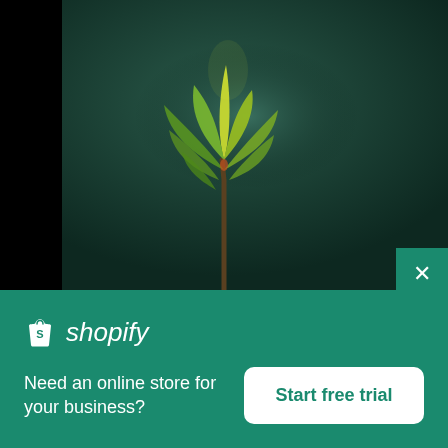[Figure (photo): A green plant sprig with yellow-green leaves against a dark teal/green blurred background]
[Figure (logo): Shopify logo: white shopping bag icon with S and italic 'shopify' text in white]
Need an online store for your business?
Start free trial